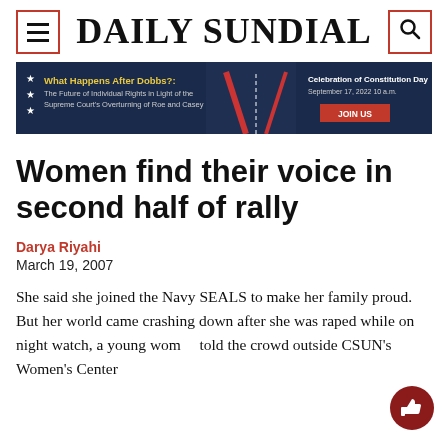DAILY SUNDIAL
[Figure (screenshot): Advertisement banner: 'What Happens After Dobbs?: The Future of Individual Rights in Light of the Supreme Court's Overturning of Roe and Casey' — Celebration of Constitution Day, September 17, 2022, 10 a.m. JOIN US]
Women find their voice in second half of rally
Darya Riyahi
March 19, 2007
She said she joined the Navy SEALS to make her family proud. But her world came crashing down after she was raped while on night watch, a young woman told the crowd outside CSUN's Women's Center during the Take Back the Night rally on March 1,